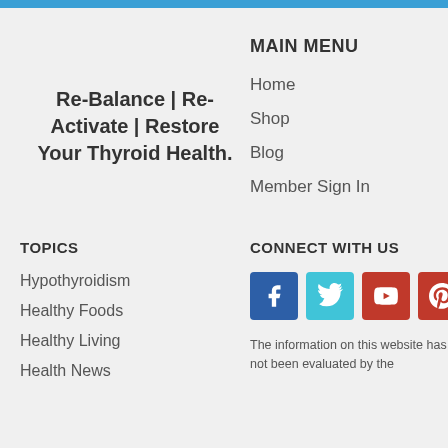Re-Balance | Re-Activate | Restore Your Thyroid Health.
MAIN MENU
Home
Shop
Blog
Member Sign In
TOPICS
CONNECT WITH US
Hypothyroidism
Healthy Foods
Healthy Living
Health News
[Figure (infographic): Social media icons: Facebook (blue), Twitter (cyan), YouTube (red), Pinterest (red)]
The information on this website has not been evaluated by the